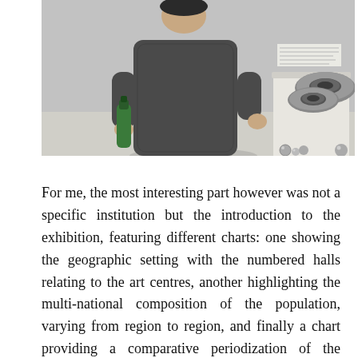[Figure (photo): A person in a grey tweed coat holding a green bottle stands in a gallery/museum space, with a large metallic ball bearing and smaller steel balls displayed on a white pedestal to their right. A text label is visible on the wall in the background.]
For me, the most interesting part however was not a specific institution but the introduction to the exhibition, featuring different charts: one showing the geographic setting with the numbered halls relating to the art centres, another highlighting the multi-national composition of the population, varying from region to region, and finally a chart providing a comparative periodization of the eighteen (!) institutions showcased at